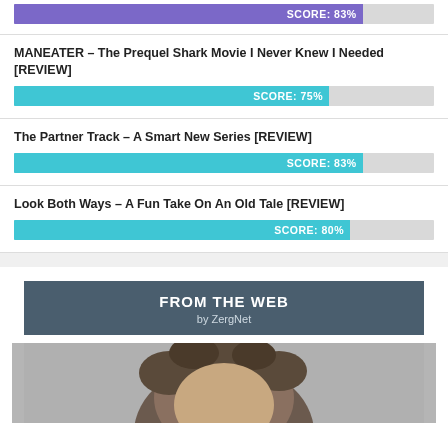[Figure (bar-chart): Score bar: 83%]
MANEATER – The Prequel Shark Movie I Never Knew I Needed [REVIEW]
[Figure (bar-chart): Score bar: 75%]
The Partner Track – A Smart New Series [REVIEW]
[Figure (bar-chart): Score bar: 83%]
Look Both Ways – A Fun Take On An Old Tale [REVIEW]
[Figure (bar-chart): Score bar: 80%]
FROM THE WEB
by ZergNet
[Figure (photo): Partial photo of a person with curly hair, cropped at bottom of page]